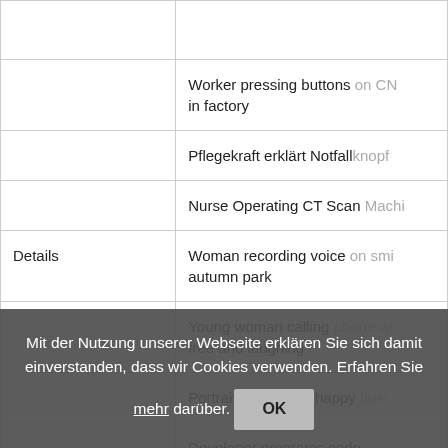|  | Worker pressing buttons on CN
in factory |
|  | Pflegekraft erklärt Notfallknopf |
|  | Nurse Operating CT Scan Machi |
| Details | Woman recording voice on sm
autumn park |
|  | Young woman calling phone w
free and laughing |
|  | Portrait of a young happy busi |
|  | Developer programs code |
Mit der Nutzung unserer Webseite erklären Sie sich damit einverstanden, dass wir Cookies verwenden. Erfahren Sie mehr darüber. OK